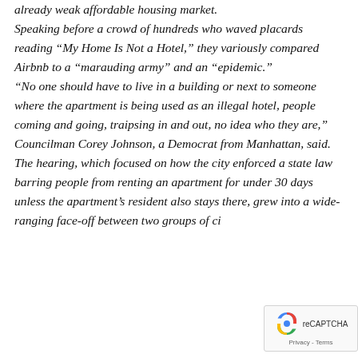already weak affordable housing market. Speaking before a crowd of hundreds who waved placards reading “My Home Is Not a Hotel,” they variously compared Airbnb to a “marauding army” and an “epidemic.” “No one should have to live in a building or next to someone where the apartment is being used as an illegal hotel, people coming and going, traipsing in and out, no idea who they are,” Councilman Corey Johnson, a Democrat from Manhattan, said. The hearing, which focused on how the city enforced a state law barring people from renting an apartment for under 30 days unless the apartment’s resident also stays there, grew into a wide-ranging face-off between two groups of city...